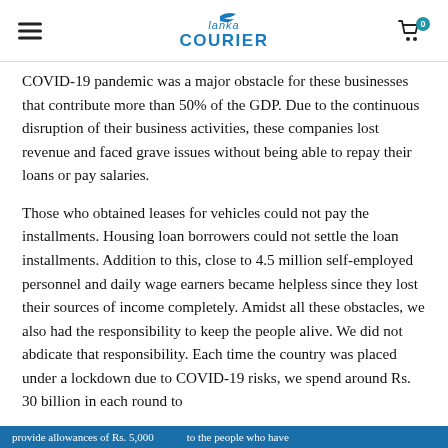Lanka COURIER
COVID-19 pandemic was a major obstacle for these businesses that contribute more than 50% of the GDP. Due to the continuous disruption of their business activities, these companies lost revenue and faced grave issues without being able to repay their loans or pay salaries.
Those who obtained leases for vehicles could not pay the installments. Housing loan borrowers could not settle the loan installments. Addition to this, close to 4.5 million self-employed personnel and daily wage earners became helpless since they lost their sources of income completely. Amidst all these obstacles, we also had the responsibility to keep the people alive. We did not abdicate that responsibility. Each time the country was placed under a lockdown due to COVID-19 risks, we spend around Rs. 30 billion in each round to provide allowances of Rs. 5,000 to the people who have
provide allowances of Rs. 5,000 to the people who have